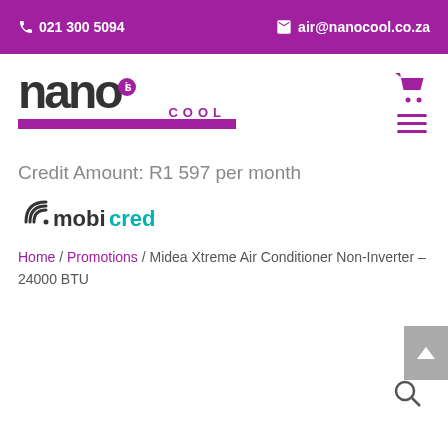📞 021 300 5094   ✉ air@nanocool.co.za
[Figure (logo): Nanocool logo — large bold 'nano' text with 'IS' superscript in purple circle, purple underline bar with 'COOL' text]
Credit Amount: R1 597 per month
[Figure (logo): Mobicred logo — 'mobi' in dark with wifi arc icon, 'cred' in teal]
Home / Promotions / Midea Xtreme Air Conditioner Non-Inverter – 24000 BTU